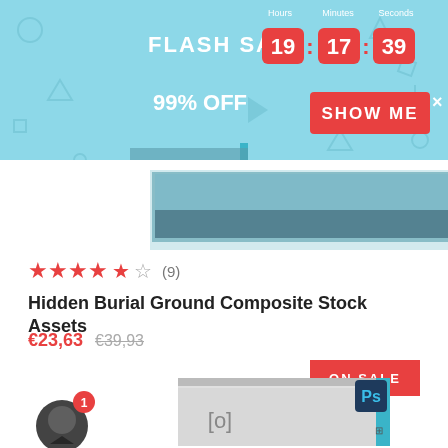[Figure (screenshot): Flash sale banner with countdown timer showing 19:17:39, '99% OFF' text and 'SHOW ME' red button on light blue background]
[Figure (photo): Product image of a book or photo asset pack displayed at an angle with teal/cyan border]
★★★★½ (9)
Hidden Burial Ground Composite Stock Assets
€23,63  €39,93
[Figure (screenshot): Second product image showing a Photoshop mockup with teal border and an ON SALE badge, plus a chat icon with notification badge showing 1]